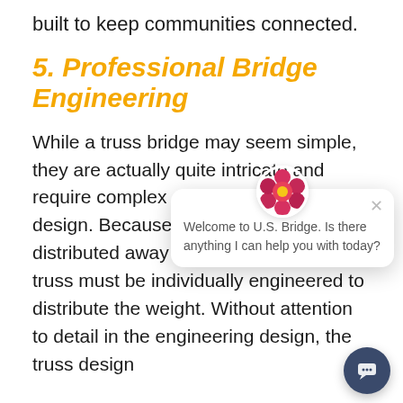built to keep communities connected.
5. Professional Bridge Engineering
While a truss bridge may seem simple, they are actually quite intricate and require complex engineering and design. Because the weight is distributed away from the bridge, each truss must be individually engineered to distribute the weight. Without attention to detail in the engineering design, the truss design will not have the same effect the
[Figure (screenshot): Chat widget overlay showing a flower avatar and the message: Welcome to U.S. Bridge. Is there anything I can help you with today?]